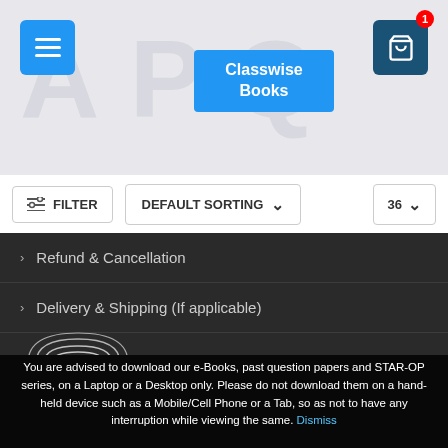[Figure (screenshot): Website header with hamburger menu icon (blue), 'Classwise Books' button (blue), and cart icon with badge showing '1']
FILTER   DEFAULT SORTING ∨   36 ∨
> Refund & Cancellation
> Delivery & Shipping (If applicable)
[Figure (logo): Brain Mapping logo - semicircular fingerprint-like arc design with text 'BRAIN MAPPING' below]
You are advised to download our e-Books, past question papers and STAR-OP series, on a Laptop or a Desktop only. Please do not download them on a hand-held device such as a Mobile/Cell Phone or a Tab, so as not to have any interruption while viewing the same. Dismiss